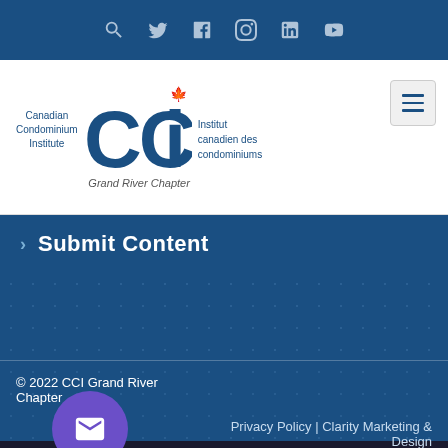Social media icons: search, Twitter, Facebook, Instagram, LinkedIn, YouTube
[Figure (logo): CCI - Canadian Condominium Institute / Institut canadien des condominiums, Grand River Chapter logo]
Submit Content
© 2022 CCI Grand River Chapter
Privacy Policy | Clarity Marketing & Design
PHP Code Snippets Powered By : XYZScripts.com